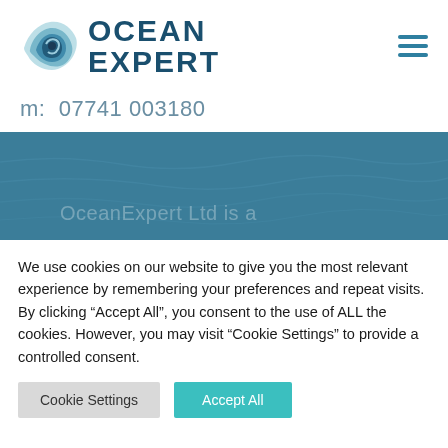[Figure (logo): Ocean Expert logo with wave icon and bold teal/navy text 'OCEAN EXPERT']
m: 07741 003180
[Figure (photo): Teal/blue ocean water texture banner with faint text 'OceanExpert Ltd is a']
We use cookies on our website to give you the most relevant experience by remembering your preferences and repeat visits. By clicking "Accept All", you consent to the use of ALL the cookies. However, you may visit "Cookie Settings" to provide a controlled consent.
Cookie Settings | Accept All